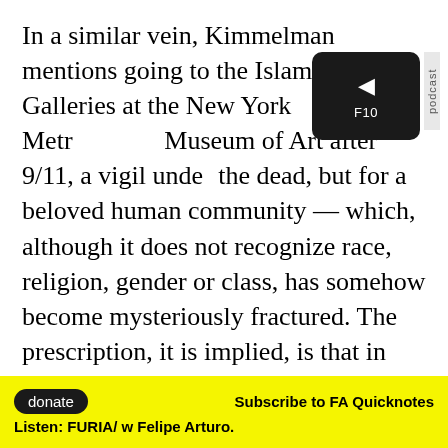In a similar vein, Kimmelman mentions going to the Islamic Galleries at the New York Metropolitan Museum of Art after 9/11, a vigil under the dead, but for a beloved human community — which, although it does not recognize race, religion, gender or class, has somehow become mysteriously fractured. The prescription, it is implied, is that in times “like this” we can all find “life and beauty and tolerance … and strength in one another” together. But the virus’ deprivation of the easy palliative of hand-holding “solidarity” is a spiritual cruelty. Bound up in admonitions to come together is a sense of loss that coming together is impossible.

New York Governor Andrew Cuomo’s Executive Order 202 (called “New York State on PAUSE”...
[Figure (other): Podcast widget: dark rounded rectangle with play button triangle and text F10, with vertical 'podcast' label]
donate   Subscribe to FA Quicknotes
Listen: FURIA/ w Felipe Arturo.